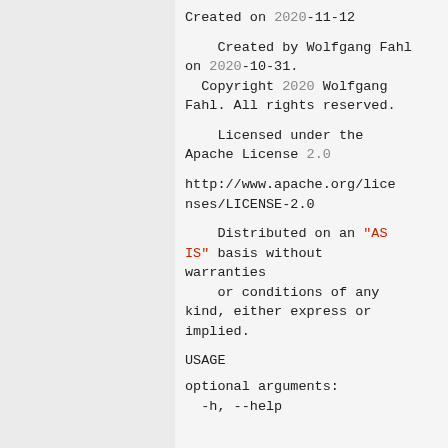Created on 2020-11-12
Created by Wolfgang Fahl
on 2020-10-31.
  Copyright 2020 Wolfgang
Fahl. All rights reserved.
Licensed under the
Apache License 2.0
http://www.apache.org/licenses/LICENSE-2.0
Distributed on an "AS
IS" basis without
warranties
    or conditions of any
kind, either express or
implied.
USAGE
optional arguments:
  -h, --help